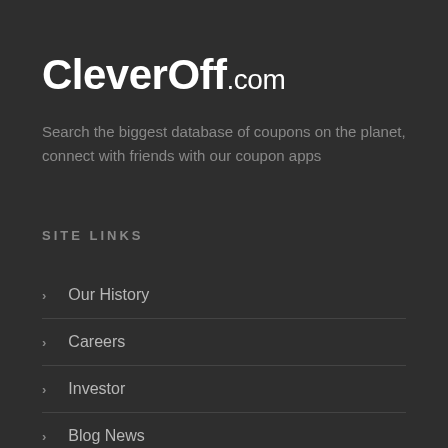CleverOff.com
Search the biggest database of coupons on the planet, connect with friends with our coupon apps
SITE LINKS
Our History
Careers
Investor
Blog News
Affiliate